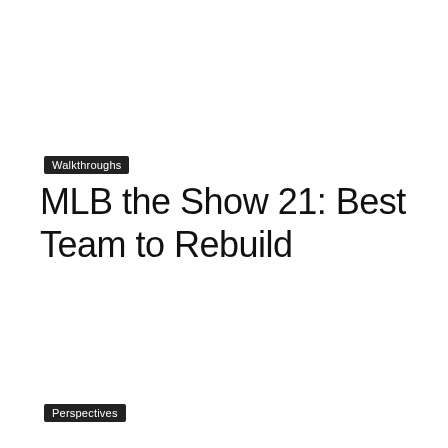Walkthroughs
MLB the Show 21: Best Team to Rebuild
Perspectives